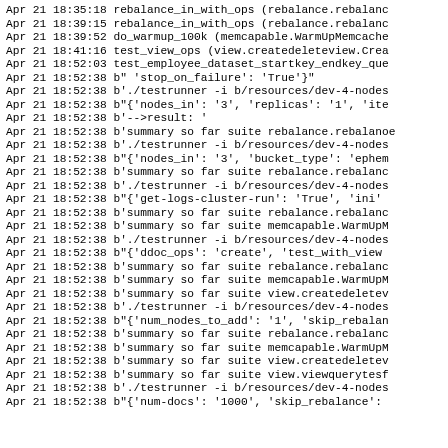Apr 21 18:35:18 rebalance_in_with_ops (rebalance.rebalance
Apr 21 18:39:15 rebalance_in_with_ops (rebalance.rebalance
Apr 21 18:39:52 do_warmup_100k (memcapable.WarmUpMemcache
Apr 21 18:41:16 test_view_ops (view.createdeleteview.Crea
Apr 21 18:52:03 test_employee_dataset_startkey_endkey_que
Apr 21 18:52:38 b" 'stop_on_failure': 'True'}"
Apr 21 18:52:38 b'./testrunner -i b/resources/dev-4-nodes
Apr 21 18:52:38 b"{'nodes_in': '3', 'replicas': '1', 'ite
Apr 21 18:52:38 b'-->result: '
Apr 21 18:52:38 b'summary so far suite rebalance.rebalance
Apr 21 18:52:38 b'./testrunner -i b/resources/dev-4-nodes
Apr 21 18:52:38 b"{'nodes_in': '3', 'bucket_type': 'ephem
Apr 21 18:52:38 b'summary so far suite rebalance.rebalance
Apr 21 18:52:38 b'./testrunner -i b/resources/dev-4-nodes
Apr 21 18:52:38 b"{'get-logs-cluster-run': 'True', 'ini'
Apr 21 18:52:38 b'summary so far suite rebalance.rebalance
Apr 21 18:52:38 b'summary so far suite memcapable.WarmUpM
Apr 21 18:52:38 b'./testrunner -i b/resources/dev-4-nodes
Apr 21 18:52:38 b"{'ddoc_ops': 'create', 'test_with_view
Apr 21 18:52:38 b'summary so far suite rebalance.rebalance
Apr 21 18:52:38 b'summary so far suite memcapable.WarmUpM
Apr 21 18:52:38 b'summary so far suite view.createdeletek
Apr 21 18:52:38 b'./testrunner -i b/resources/dev-4-nodes
Apr 21 18:52:38 b"{'num_nodes_to_add': '1', 'skip_rebala
Apr 21 18:52:38 b'summary so far suite rebalance.rebalance
Apr 21 18:52:38 b'summary so far suite memcapable.WarmUpM
Apr 21 18:52:38 b'summary so far suite view.createdeletek
Apr 21 18:52:38 b'summary so far suite view.viewquerytesf
Apr 21 18:52:38 b'./testrunner -i b/resources/dev-4-nodes
Apr 21 18:52:38 b"{'num-docs': '1000', 'skip_rebalance':